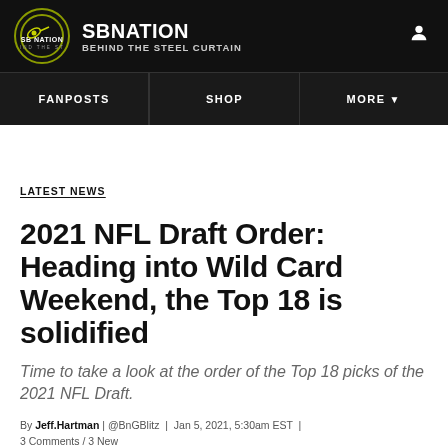SBNATION | BEHIND THE STEEL CURTAIN
LATEST NEWS
2021 NFL Draft Order: Heading into Wild Card Weekend, the Top 18 is solidified
Time to take a look at the order of the Top 18 picks of the 2021 NFL Draft.
By Jeff.Hartman | @BnGBlitz | Jan 5, 2021, 5:30am EST | 3 Comments / 3 New